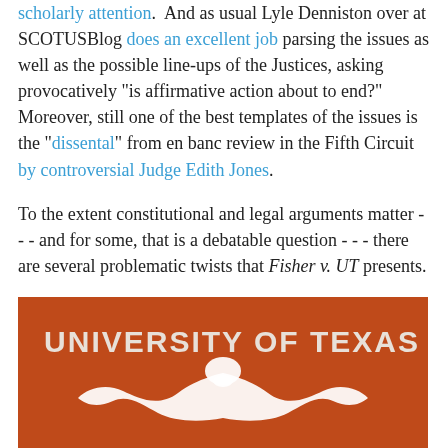scholarly attention.  And as usual Lyle Denniston over at SCOTUSBlog does an excellent job parsing the issues as well as the possible line-ups of the Justices, asking provocatively "is affirmative action about to end?" Moreover, still one of the best templates of the issues is the "dissental" from en banc review in the Fifth Circuit by controversial Judge Edith Jones.
To the extent constitutional and legal arguments matter - - - and for some, that is a debatable question - - - there are several problematic twists that Fisher v. UT presents.
[Figure (photo): University of Texas banner in burnt orange with white longhorn logo and text 'UNIVERSITY OF TEXAS']